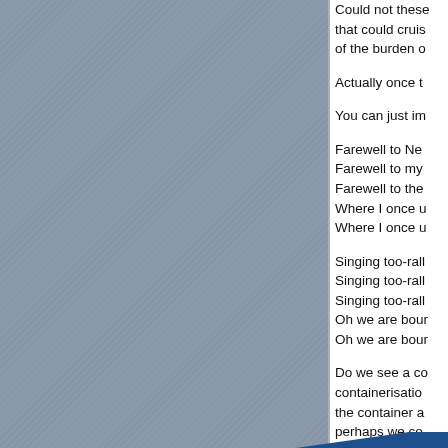[Figure (illustration): Blue quotation mark icon (two stylized white quotation marks on a dark blue rounded square/rectangle), tilted slightly, on a grey hatched background.]
Could not these that could cruis of the burden o

Actually once t

You can just im

Farewell to Ne Farewell to my Farewell to the Where I once u Where I once u

Singing too-rall Singing too-rall Singing too-rall Oh we are bour Oh we are bour

Do we see a co containerisatio the container a perhaps we co